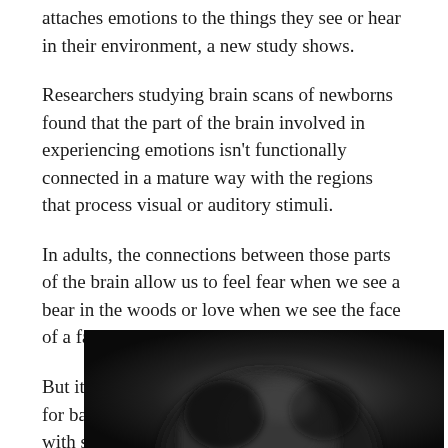attaches emotions to the things they see or hear in their environment, a new study shows.
Researchers studying brain scans of newborns found that the part of the brain involved in experiencing emotions isn't functionally connected in a mature way with the regions that process visual or auditory stimuli.
In adults, the connections between those parts of the brain allow us to feel fear when we see a bear in the woods or love when we see the face of a family member.
But it appears that it takes at least a few months for babies to be able to connect what they see with specific higher-level emotions, said Zeynep Saygin, co-author of the study and assistant professor of psychology at The Ohio State University.
[Figure (photo): A dark, blurry black-and-white close-up photograph of what appears to be a newborn baby's face, partially visible at the bottom of the page.]